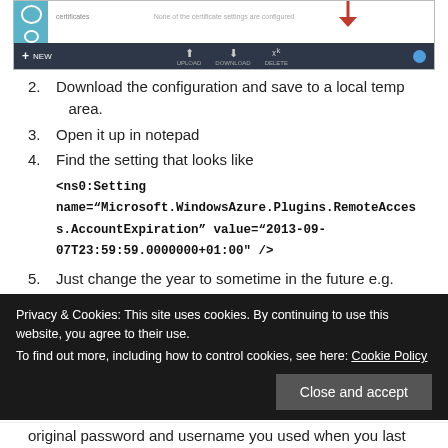[Figure (screenshot): Screenshot of an Azure portal UI showing certificate settings panel with a red arrow pointing to a download button, and a dark bottom toolbar with NEW, UPLOAD, DOWNLOAD, DELETE buttons.]
2. Download the configuration and save to a local temp area.
3. Open it up in notepad
4. Find the setting that looks like
<ns0:Setting name="Microsoft.WindowsAzure.Plugins.RemoteAccess.AccountExpiration" value="2013-09-07T23:59:59.0000000+01:00" />
5. Just change the year to sometime in the future e.g. 2016 and save.
Privacy & Cookies: This site uses cookies. By continuing to use this website, you agree to their use.
To find out more, including how to control cookies, see here: Cookie Policy
original password and username you used when you last